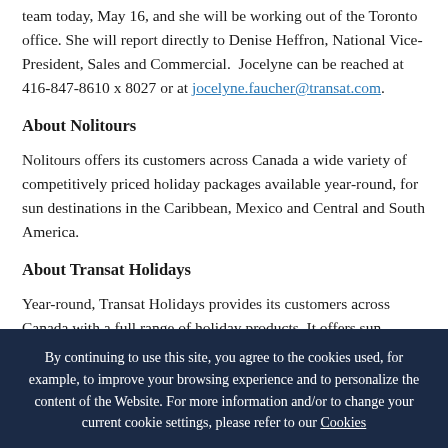team today, May 16, and she will be working out of the Toronto office. She will report directly to Denise Heffron, National Vice-President, Sales and Commercial. Jocelyne can be reached at 416-847-8610 x 8027 or at jocelyne.faucher@transat.com.
About Nolitours
Nolitours offers its customers across Canada a wide variety of competitively priced holiday packages available year-round, for sun destinations in the Caribbean, Mexico and Central and South America.
About Transat Holidays
Year-round, Transat Holidays provides its customers across Canada with a full range of holiday products. It offers sun vacations, with a choice of more than 140 hotels, mainly in the Caribbean, Mexico and Florida, along with an impressive array of flights, packages and
By continuing to use this site, you agree to the cookies used, for example, to improve your browsing experience and to personalize the content of the Website. For more information and/or to change your current cookie settings, please refer to our Cookies